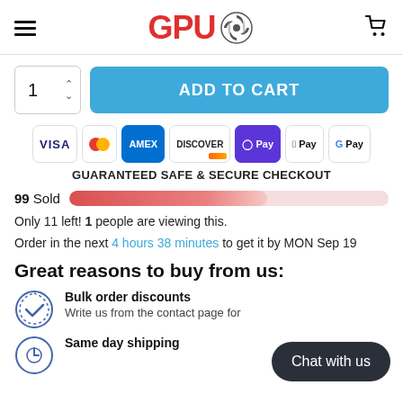GPU [logo with fan icon] [cart icon]
1 ADD TO CART
[Figure (other): Payment method icons: VISA, Mastercard, AMEX, Discover, DPay, Apple Pay, Google Pay]
GUARANTEED SAFE & SECURE CHECKOUT
99 Sold [progress bar]
Only 11 left! 1 people are viewing this.
Order in the next 4 hours 38 minutes to get it by MON Sep 19
Great reasons to buy from us:
Bulk order discounts - Write us from the contact page for
Same day shipping
Chat with us